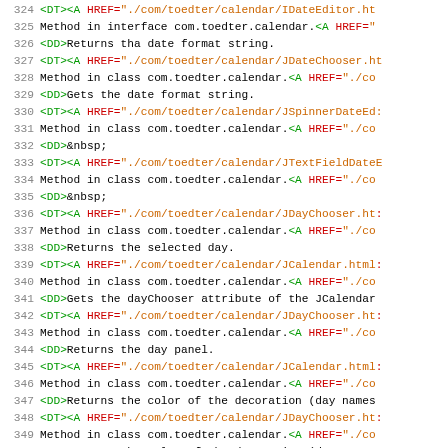Code listing lines 324-353 showing HTML/Java API documentation source code with DT, DD, A HREF tags and method descriptions for com.toedter.calendar package
[Figure (screenshot): Source code view showing lines 324-353 of HTML documentation with syntax highlighting. Green tags (DT, DD), red/orange hyperlinks (A HREF), and black text for method descriptions. References classes: IDateEditor, JDateChooser, JSpinnerDateEditor, JTextFieldDateEditor, JDayChooser, JCalendar, JYearChooser.]